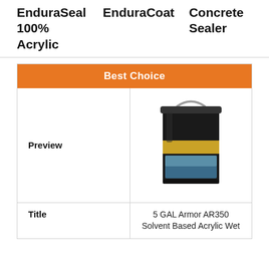| EnduraSeal 100% Acrylic | EnduraCoat | Concrete Sealer |
| --- | --- | --- |
| Best Choice |  |  |
| Preview | [product image] |  |
| Title | 5 GAL Armor AR350 Solvent Based Acrylic Wet |  |